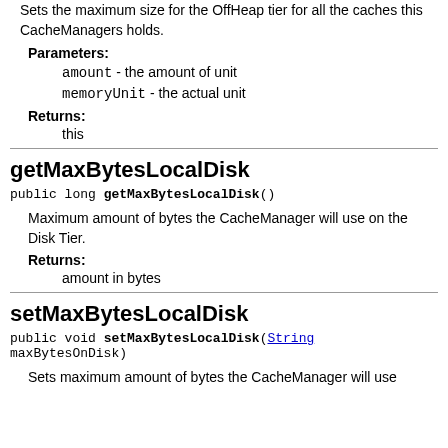Sets the maximum size for the OffHeap tier for all the caches this CacheManagers holds.
Parameters:
amount - the amount of unit
memoryUnit - the actual unit
Returns:
this
getMaxBytesLocalDisk
public long getMaxBytesLocalDisk()
Maximum amount of bytes the CacheManager will use on the Disk Tier.
Returns:
amount in bytes
setMaxBytesLocalDisk
public void setMaxBytesLocalDisk(String maxBytesOnDisk)
Sets maximum amount of bytes the CacheManager will use